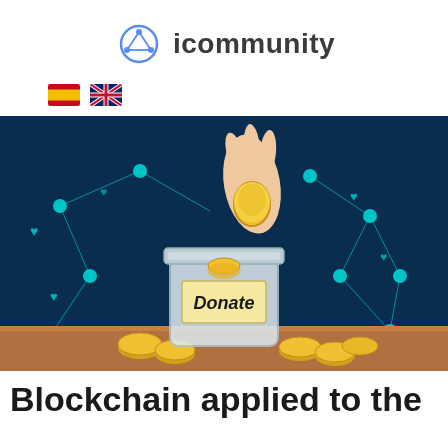icommunity
[Figure (logo): icommunity logo with icon and text]
[Figure (illustration): Spanish and UK flag icons for language selection]
[Figure (photo): Illustration of a hand dropping a gold coin into a glass jar labeled Donate, with blockchain network nodes in the background]
Blockchain applied to the